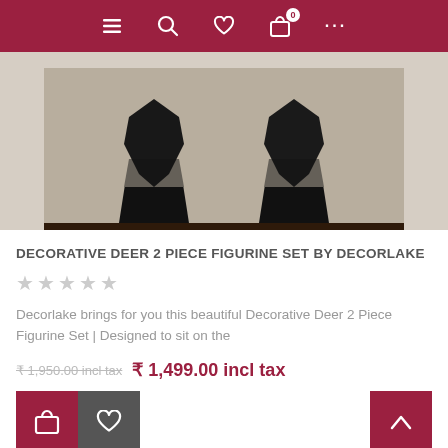Navigation bar with hamburger menu, search, heart, cart (0), and more icons
[Figure (photo): Two black geometric deer figurines on a dark wooden shelf, against a light wall background]
DECORATIVE DEER 2 PIECE FIGURINE SET BY DECORLAKE
★★★★★ (star rating, all empty/grey)
Decorlake brings for you this beautiful Decorative Deer 2 Piece Figurine Set | Designed to sit on the
₹ 1,950.00 incl tax  ₹ 1,499.00 incl tax
Add to cart and wishlist buttons, back to top button